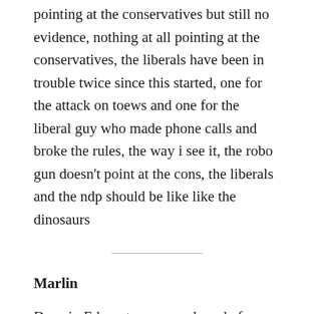pointing at the conservatives but still no evidence, nothing at all pointing at the conservatives, the liberals have been in trouble twice since this started, one for the attack on toews and one for the liberal guy who made phone calls and broke the rules, the way i see it, the robo gun doesn't point at the cons, the liberals and the ndp should be like like the dinosaurs
Marlin
Dave in Edmonton……perhaps before calling conservative supporters weak some fact checking would be in order. Before you call out others you